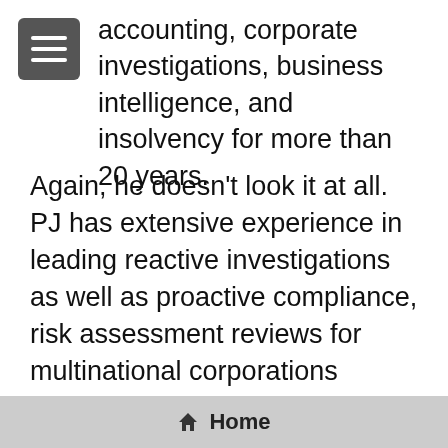accounting, corporate investigations, business intelligence, and insolvency for more than 20 years.
Again, he doesn't look it at all. PJ has extensive experience in leading reactive investigations as well as proactive compliance, risk assessment reviews for multinational corporations across. TJ has also provided forensic accounting and investigative support to international law firms appointed as the independent advisors of publicly listed companies.
Once again, welcome Kent and welcome TJ
Home